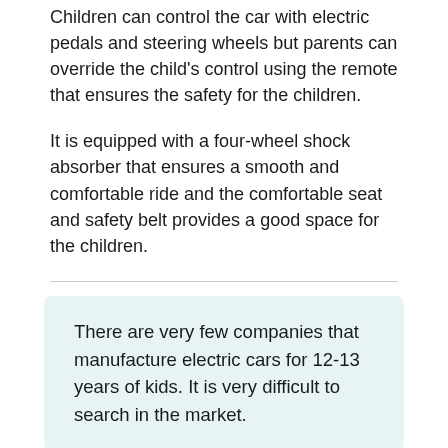Children can control the car with electric pedals and steering wheels but parents can override the child's control using the remote that ensures the safety for the children.
It is equipped with a four-wheel shock absorber that ensures a smooth and comfortable ride and the comfortable seat and safety belt provides a good space for the children.
There are very few companies that manufacture electric cars for 12-13 years of kids. It is very difficult to search in the market.